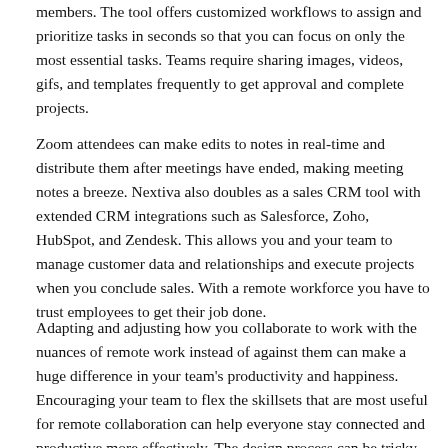members. The tool offers customized workflows to assign and prioritize tasks in seconds so that you can focus on only the most essential tasks. Teams require sharing images, videos, gifs, and templates frequently to get approval and complete projects.
Zoom attendees can make edits to notes in real-time and distribute them after meetings have ended, making meeting notes a breeze. Nextiva also doubles as a sales CRM tool with extended CRM integrations such as Salesforce, Zoho, HubSpot, and Zendesk. This allows you and your team to manage customer data and relationships and execute projects when you conclude sales. With a remote workforce you have to trust employees to get their job done.
Adapting and adjusting how you collaborate to work with the nuances of remote work instead of against them can make a huge difference in your team's productivity and happiness. Encouraging your team to flex the skillsets that are most useful for remote collaboration can help everyone stay connected and productive more effectively. The design process can be tricky to navigate when your team is working